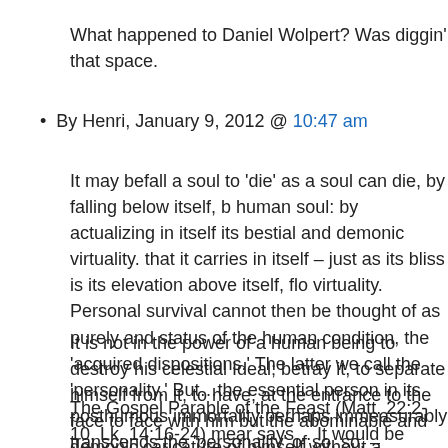What happened to Daniel Wolpert? Was diggin' that space.
By Henri, January 9, 2012 @ 10:47 am
It may befall a soul to 'die' as a soul can die, by falling below itself, b... human soul: by actualizing in itself its bestial and demonic virtuality. that it carries in itself – just as its bliss is its elevation above itself, fl... virtuality. Personal survival cannot then be thought of as purely and status of the human condition, the 'acquired dispositions.' The latter we call the 'personality.' But…the essential person in its posthumous immortality perhaps immeasurably transcends the 'personality' of so... so. – Avicenna & the Visionary Recital, 116
It is not in the power of a human being to destroy his celestial Ideal; betray it, to separate himself from it, to have, at the entrance to the ... face to face with him but the abominable and demonic caricature of himself without a heavenly sponsor. – Spiritual Body & Celestial Ear...
The Gospel Parable of the Feast (Matt. 22:2-10, Lk. 14:16-24) mear... says… It would be ridiculous to engage in polemics against men or ... come to the Feast: their refusal inspires only sadness and compass...